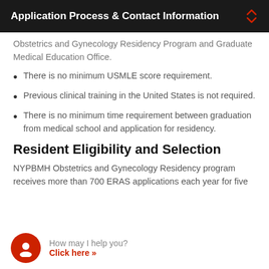Application Process & Contact Information
Obstetrics and Gynecology Residency Program and Graduate Medical Education Office.
There is no minimum USMLE score requirement.
Previous clinical training in the United States is not required.
There is no minimum time requirement between graduation from medical school and application for residency.
Resident Eligibility and Selection
NYPBMH Obstetrics and Gynecology Residency program receives more than 700 ERAS applications each year for five
How may I help you? Click here »